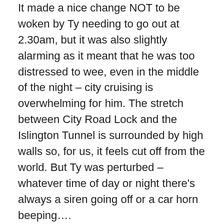It made a nice change NOT to be woken by Ty needing to go out at 2.30am, but it was also slightly alarming as it meant that he was too distressed to wee, even in the middle of the night – city cruising is overwhelming for him. The stretch between City Road Lock and the Islington Tunnel is surrounded by high walls so, for us, it feels cut off from the world. But Ty was perturbed – whatever time of day or night there's always a siren going off or a car horn beeping….
Although I wasn't disturbed by Ty, the weather kept intruding, showering the boat with what sounded like fine gravel, though it was probably hailstones. This uninspiring sound  woke me properly at 7.30am-ish. Richard was up and about; I was very reluctant – we had to cruise at least part of the day and the forecast was dreadful. We layered up – it's not often I wear my balaclava but it was absolutely